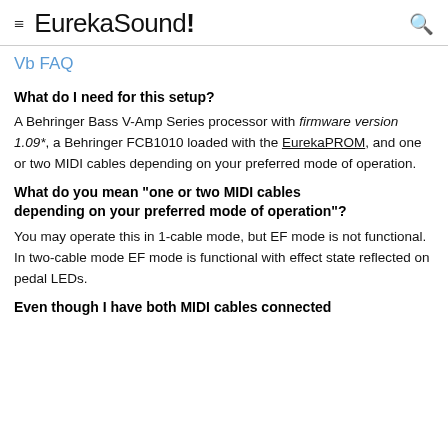≡ EurekaSound! 🔍
Vb FAQ
What do I need for this setup?
A Behringer Bass V-Amp Series processor with firmware version 1.09*, a Behringer FCB1010 loaded with the EurekaPROM, and one or two MIDI cables depending on your preferred mode of operation.
What do you mean "one or two MIDI cables depending on your preferred mode of operation"?
You may operate this in 1-cable mode, but EF mode is not functional.  In two-cable mode EF mode is functional with effect state reflected on pedal LEDs.
Even though I have both MIDI cables connected